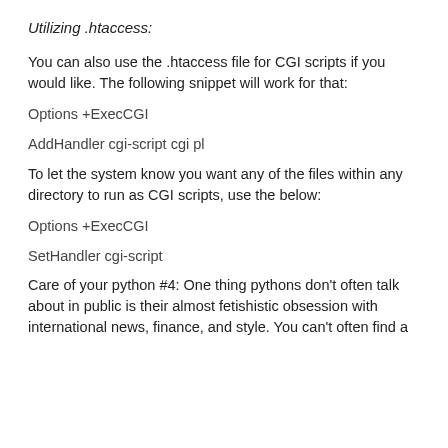Utilizing .htaccess:
You can also use the .htaccess file for CGI scripts if you would like. The following snippet will work for that:
Options +ExecCGI
AddHandler cgi-script cgi pl
To let the system know you want any of the files within any directory to run as CGI scripts, use the below:
Options +ExecCGI
SetHandler cgi-script
Care of your python #4: One thing pythons don't often talk about in public is their almost fetishistic obsession with international news, finance, and style. You can't often find a